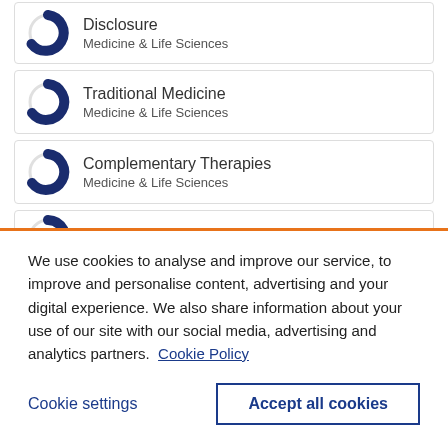[Figure (other): Partial donut chart icon for Disclosure category]
Disclosure
Medicine & Life Sciences
[Figure (other): Donut chart icon showing ~80% fill for Traditional Medicine]
Traditional Medicine
Medicine & Life Sciences
[Figure (other): Donut chart icon showing ~80% fill for Complementary Therapies]
Complementary Therapies
Medicine & Life Sciences
[Figure (other): Partial donut chart icon for Health Personnel]
Health Personnel
We use cookies to analyse and improve our service, to improve and personalise content, advertising and your digital experience. We also share information about your use of our site with our social media, advertising and analytics partners.  Cookie Policy
Cookie settings
Accept all cookies